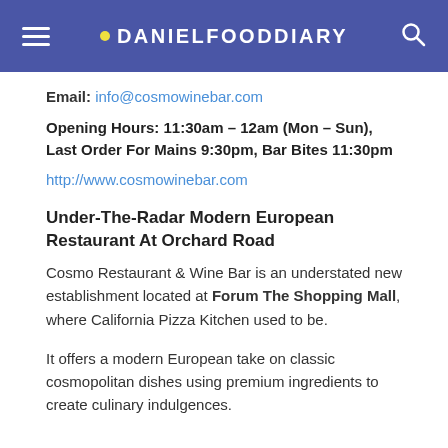DANIELFOODDIARY
Email: info@cosmowinebar.com
Opening Hours: 11:30am – 12am (Mon – Sun), Last Order For Mains 9:30pm, Bar Bites 11:30pm
http://www.cosmowinebar.com
Under-The-Radar Modern European Restaurant At Orchard Road
Cosmo Restaurant & Wine Bar is an understated new establishment located at Forum The Shopping Mall, where California Pizza Kitchen used to be.
It offers a modern European take on classic cosmopolitan dishes using premium ingredients to create culinary indulgences.